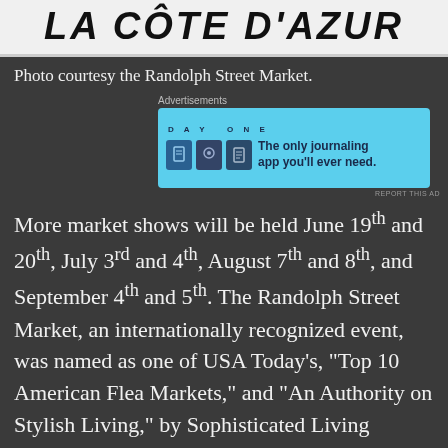[Figure (logo): LA CÔTE D'AZUR logo text in large bold italic serif font on white/light background]
Photo courtesy the Randolph Street Market.
[Figure (screenshot): Advertisement banner for Day One journaling app on light blue background with text: DAY ONE, The only journaling app you'll ever need.]
More market shows will be held June 19th and 20th, July 3rd and 4th, August 7th and 8th, and September 4th and 5th. The Randolph Street Market, an internationally recognized event, was named as one of USA Today's, “Top 10 American Flea Markets,” and “An Authority on Stylish Living,” by Sophisticated Living Magazine. It’s been featured in Travel & Leisure, the Wall Street